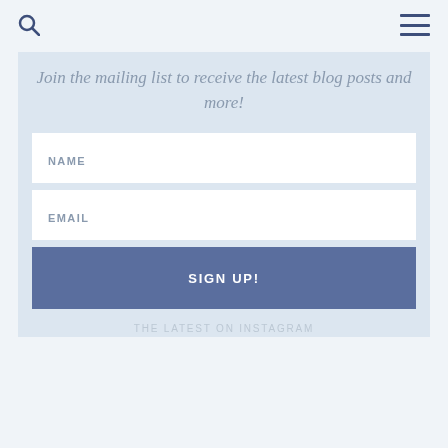Join the mailing list to receive the latest blog posts and more!
NAME
EMAIL
SIGN UP!
THE LATEST ON INSTAGRAM